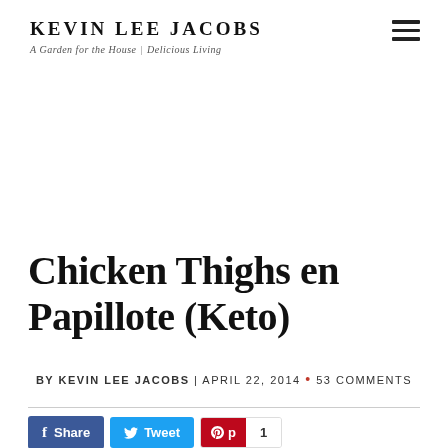Kevin Lee Jacobs — A Garden for the House | Delicious Living
Chicken Thighs en Papillote (Keto)
BY KEVIN LEE JACOBS | APRIL 22, 2014 • 53 COMMENTS